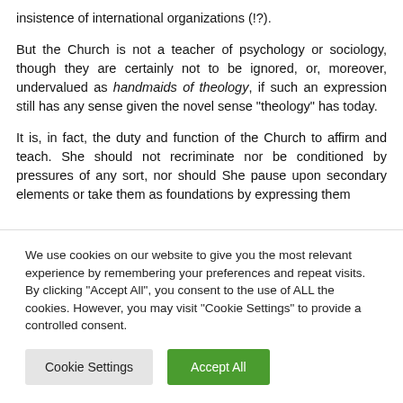insistence of international organizations (!?).
But the Church is not a teacher of psychology or sociology, though they are certainly not to be ignored, or, moreover, undervalued as handmaids of theology, if such an expression still has any sense given the novel sense “theology” has today.
It is, in fact, the duty and function of the Church to affirm and teach. She should not recriminate nor be conditioned by pressures of any sort, nor should She pause upon secondary elements or take them as foundations by expressing them
We use cookies on our website to give you the most relevant experience by remembering your preferences and repeat visits. By clicking “Accept All”, you consent to the use of ALL the cookies. However, you may visit "Cookie Settings" to provide a controlled consent.
Cookie Settings
Accept All